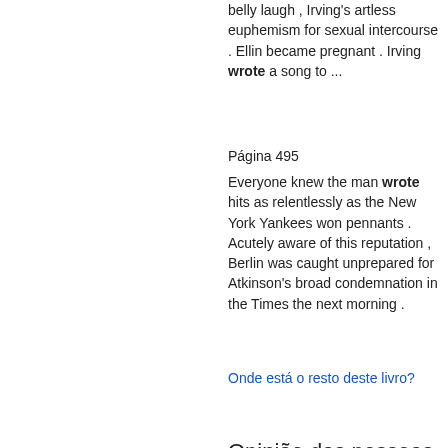belly laugh , Irving's artless euphemism for sexual intercourse . Ellin became pregnant . Irving wrote a song to ...
Página 495
Everyone knew the man wrote hits as relentlessly as the New York Yankees won pennants . Acutely aware of this reputation , Berlin was caught unprepared for Atkinson's broad condemnation in the Times the next morning .
Onde está o resto deste livro?
Opinião das pessoas - Escrever uma crítica